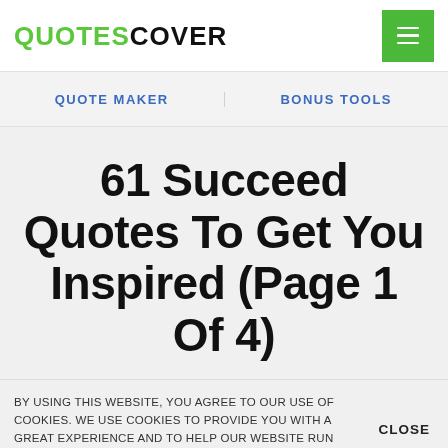QUOTESCOVER
QUOTE MAKER   BONUS TOOLS
61 Succeed Quotes To Get You Inspired (Page 1 Of 4)
BY USING THIS WEBSITE, YOU AGREE TO OUR USE OF COOKIES. WE USE COOKIES TO PROVIDE YOU WITH A GREAT EXPERIENCE AND TO HELP OUR WEBSITE RUN EFFECTIVELY. READ OUR PRIVACY POLICY